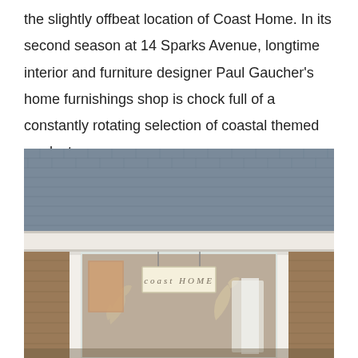the slightly offbeat location of Coast Home. In its second season at 14 Sparks Avenue, longtime interior and furniture designer Paul Gaucher's home furnishings shop is chock full of a constantly rotating selection of coastal themed products.
[Figure (photo): Exterior photo of the Coast Home shop at 14 Sparks Avenue. The building has gray shingle siding and a slate roof. A hanging sign reads 'coast HOME' in the center. White columns frame the storefront entrance, and driftwood pieces are visible in the window display.]